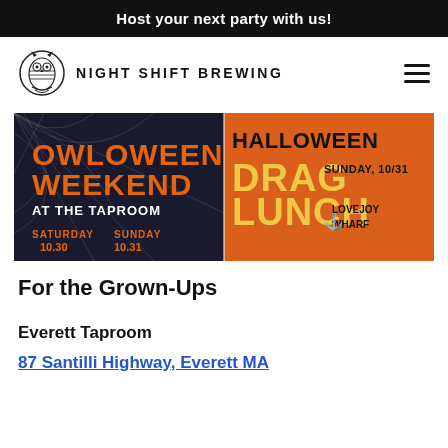Host your next party with us!
[Figure (logo): Night Shift Brewing owl logo with text NIGHT SHIFT BREWING]
[Figure (infographic): Owloween Weekend at the Taproom (Saturday 10.30, Sunday 10.31) and Halloween Drag Lunch Sunday 10/31 at Lovejoy Wharf promotional banner]
For the Grown-Ups
Everett Taproom
87 Santilli Highway, Everett MA